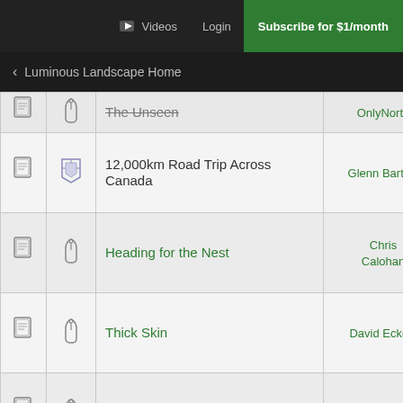Videos  Login  Subscribe for $1/month
< Luminous Landscape Home
|  |  | Title | Author |
| --- | --- | --- | --- |
| [doc] | [clip] | The Unseen | OnlyNorth |
| [doc] | [clip] | 12,000km Road Trip Across Canada | Glenn Bartley |
| [doc] | [clip] | Heading for the Nest | Chris Calohan |
| [doc] | [clip] | Thick Skin | David Eckels |
| [doc] | [clip] | Heceta Head | Arlen |
| [doc] | [clip] | Red wattlebirds | shadowblade |